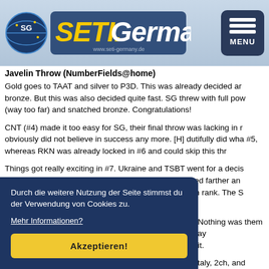[Figure (logo): SETI.Germany website logo with globe icon and yellow/blue text on light blue background, with MENU button]
Javelin Throw (NumberFields@home)
Gold goes to TAAT and silver to P3D. This was already decided ar bronze. But this was also decided quite fast. SG threw with full pow (way too far) and snatched bronze. Congratulations!
CNT (#4) made it too easy for SG, their final throw was lacking in r obviously did not believe in success any more. [H] dutifully did wha #5, whereas RKN was already locked in #6 and could skip this thr
Things got really exciting in #7. Ukraine and TSBT went for a decis throw. Slowly but steadily, the Ukrainian javelin traveled farther an reached the distance required to bag the deserved 7th rank. The S more and had to settle for #8.
AF finished in #9, followed by Chinese Dream in #10. Nothing was them on the final day, but behind them, there was a three-way figh Meisterkuehler (#12) in to a bit.
4) and EVGA (#15) were a BOINC.Italy, 2ch, and TC, d of 2ch, who thus finished which does not really refle
Durch die weitere Nutzung der Seite stimmst du der Verwendung von Cookies zu.
Mehr Informationen?
Akzeptieren!